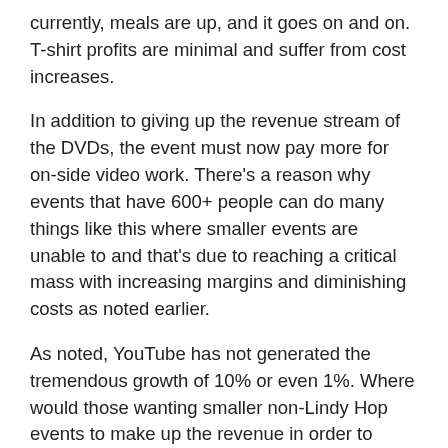currently, meals are up, and it goes on and on. T-shirt profits are minimal and suffer from cost increases.
In addition to giving up the revenue stream of the DVDs, the event must now pay more for on-side video work. There's a reason why events that have 600+ people can do many things like this where smaller events are unable to and that's due to reaching a critical mass with increasing margins and diminishing costs as noted earlier.
As noted, YouTube has not generated the tremendous growth of 10% or even 1%. Where would those wanting smaller non-Lindy Hop events to make up the revenue in order to continue the event? As noted with Lindy Hop